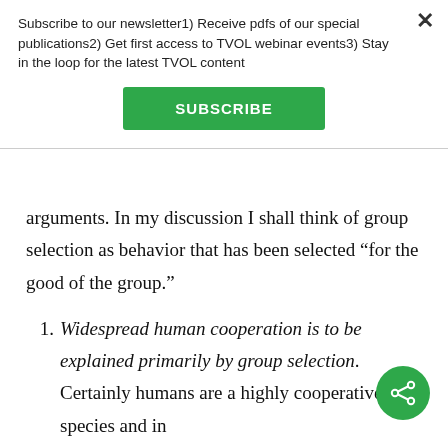Subscribe to our newsletter1) Receive pdfs of our special publications2) Get first access to TVOL webinar events3) Stay in the loop for the latest TVOL content
[Figure (other): Green SUBSCRIBE button]
arguments. In my discussion I shall think of group selection as behavior that has been selected “for the good of the group.”
Widespread human cooperation is to be explained primarily by group selection. Certainly humans are a highly cooperative species and in